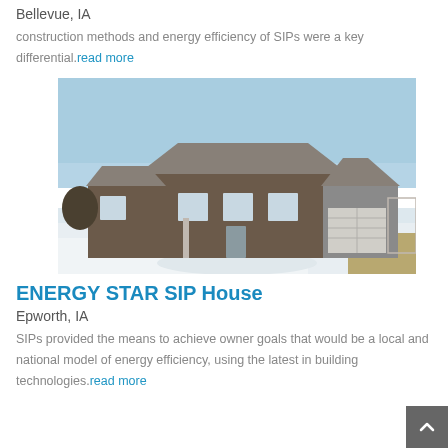Bellevue, IA
construction methods and energy efficiency of SIPs were a key differential.read more
[Figure (photo): Exterior photo of a single-story brick ranch-style house with snow on the ground and a clear blue sky, located in Iowa.]
ENERGY STAR SIP House
Epworth, IA
SIPs provided the means to achieve owner goals that would be a local and national model of energy efficiency, using the latest in building technologies.read more